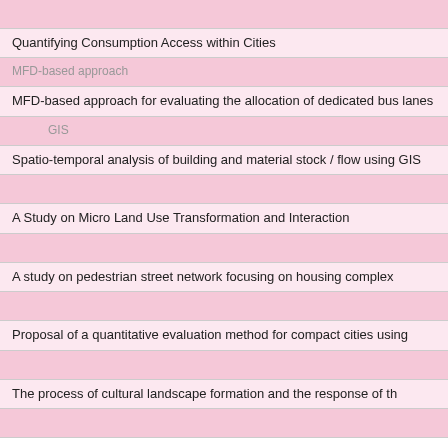| [Japanese text] |
| Quantifying Consumption Access within Cities |
| MFD-based approach[Japanese text] |
| MFD-based approach for evaluating the allocation of dedicated bus lanes |
| [Japanese GIS text] |
| Spatio-temporal analysis of building and material stock / flow using GIS |
| [Japanese text] |
| A Study on Micro Land Use Transformation and Interaction |
| [Japanese text] |
| A study on pedestrian street network focusing on housing complex |
| [Japanese text] |
| Proposal of a quantitative evaluation method for compact cities using... |
| [Japanese text] |
| The process of cultural landscape formation and the response of th... |
| [Japanese text] |